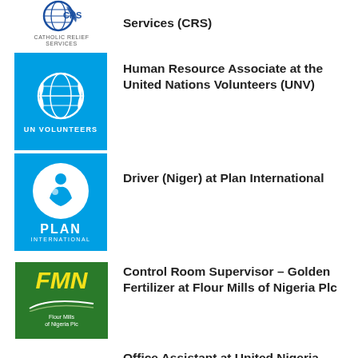Services (CRS)
Human Resource Associate at the United Nations Volunteers (UNV)
Driver (Niger) at Plan International
Control Room Supervisor – Golden Fertilizer at Flour Mills of Nigeria Plc
Office Assistant at United Nigeria Airlines